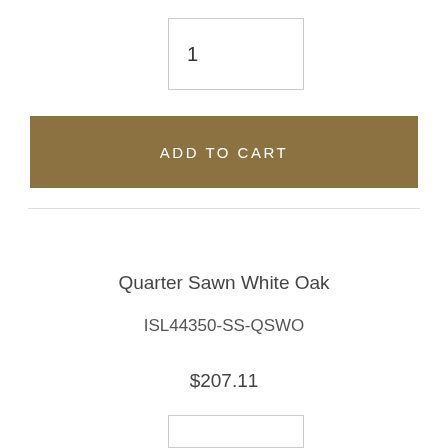1
ADD TO CART
Quarter Sawn White Oak
ISL44350-SS-QSWO
$207.11